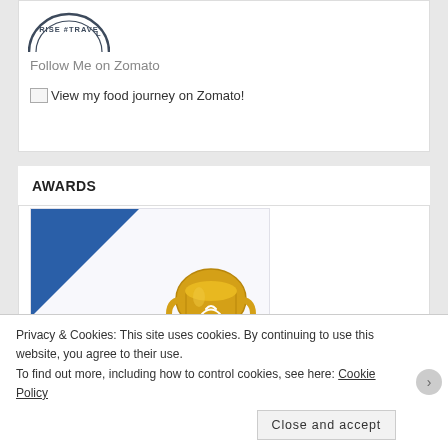[Figure (logo): Zomato circular stamp/logo partially visible at top, showing 'RISE #TRAVEL' text on the rim]
Follow Me on Zomato
View my food journey on Zomato!
AWARDS
[Figure (illustration): IB Awards 2017 badge with blue ribbon corner, gold trophy, stars, and text 'IB AWARDS 2017']
Privacy & Cookies: This site uses cookies. By continuing to use this website, you agree to their use.
To find out more, including how to control cookies, see here: Cookie Policy
Close and accept